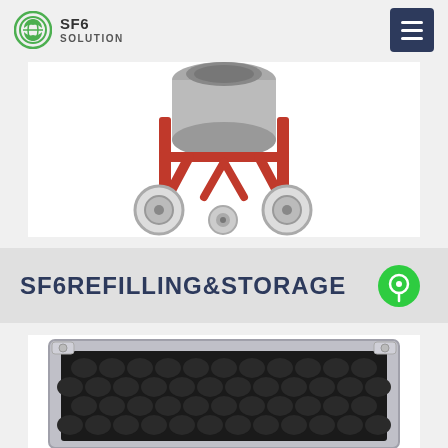SF6 SOLUTION
[Figure (photo): Partial view of a red SF6 gas handling cart/trolley with wheels, showing the lower portion with grey gas cylinder and red metal frame on wheels]
SF6REFILLING&STORAGE
[Figure (photo): Close-up view of an open protective carrying case with black foam egg-crate padding inside, and aluminum corner hardware visible at top corners]